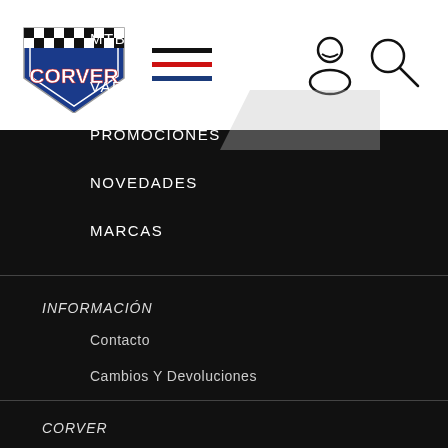[Figure (logo): Corver brand logo - shield shape with checkered flag top, CORVER text in red/white on blue shield]
MTB
VARIOS
PROMOCIONES
NOVEDADES
MARCAS
INFORMACIÓN
Contacto
Cambios Y Devoluciones
CORVER